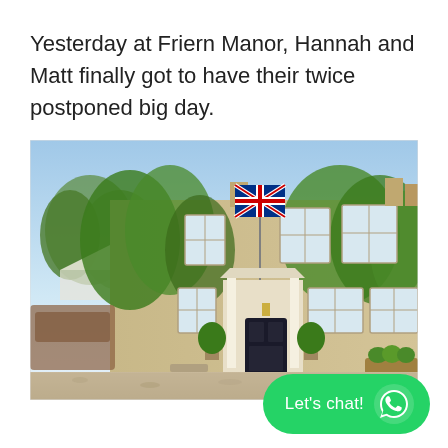Yesterday at Friern Manor, Hannah and Matt finally got to have their twice postponed big day.
[Figure (photo): Exterior photo of Friern Manor, an ivy-covered Georgian country house with a Union Jack flag flying from the facade, sash windows, a black front door with white portico columns, and topiary trees in pots on a gravel driveway under a blue sky.]